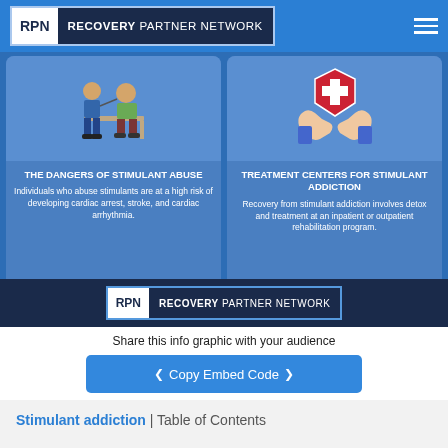[Figure (screenshot): Recovery Partner Network navigation bar with RPN logo and hamburger menu on blue background]
[Figure (infographic): Two blue cards side by side: left card shows doctor with patient illustration and text about dangers of stimulant abuse; right card shows hands holding medical cross illustration and text about treatment centers for stimulant addiction. Below cards is dark navy footer band with RPN Recovery Partner Network logo.]
Share this info graphic with your audience
[Figure (screenshot): Blue 'Copy Embed Code' button with left and right arrows]
Stimulant addiction | Table of Contents